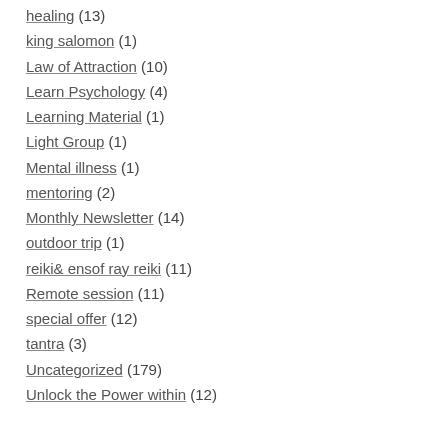healing (13)
king salomon (1)
Law of Attraction (10)
Learn Psychology (4)
Learning Material (1)
Light Group (1)
Mental illness (1)
mentoring (2)
Monthly Newsletter (14)
outdoor trip (1)
reiki& ensof ray reiki (11)
Remote session (11)
special offer (12)
tantra (3)
Uncategorized (179)
Unlock the Power within (12)